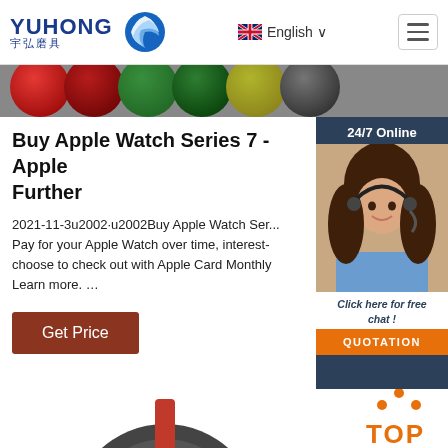YUHONG 宇弘磨具 | English
[Figure (photo): Colorful abrasive disc pads in red, green, dark green, olive/yellow, and gray arranged in a row]
Buy Apple Watch Series 7 - Apple Further
2021-11-3u2002·u2002Buy Apple Watch Ser... Pay for your Apple Watch over time, interest- choose to check out with Apple Card Monthly Learn more. …
Get Price
[Figure (photo): 24/7 Online customer service agent - woman with headset smiling, with Click here for free chat! and QUOTATION button]
[Figure (photo): Abrasive disc product partially visible at the bottom of the page, with a circular dark disc and a red stripe]
[Figure (other): TOP navigation button in orange with dots above]